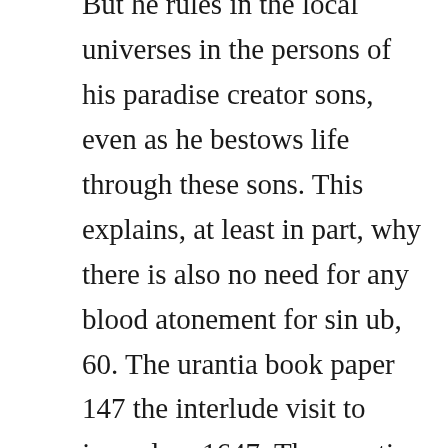But he rules in the local universes in the persons of his paradise creator sons, even as he bestows life through these sons. This explains, at least in part, why there is also no need for any blood atonement for sin ub, 60. The urantia book paper 147 the interlude visit to jerusalem 1647. The urantia book, published in 1955, which purports to restore lost knowledge and forgotten history, arrived in the night through a sleeping subject, with what a native american person might call his dream visions, with an episode of earths history referred to as the war in heaven in the